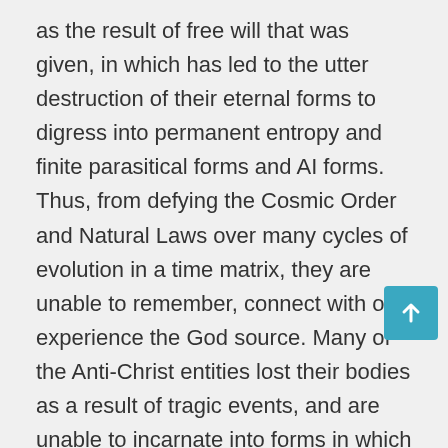as the result of free will that was given, in which has led to the utter destruction of their eternal forms to digress into permanent entropy and finite parasitical forms and AI forms. Thus, from defying the Cosmic Order and Natural Laws over many cycles of evolution in a time matrix, they are unable to remember, connect with or experience the God source. Many of the Anti-Christ entities lost their bodies as a result of tragic events, and are unable to incarnate into forms in which they can evolve or ascend. Thus, they are stuck in time, unable to evolve, and thus use technology to attempt to take shortcuts in gaining access into other dimensions of experience. They are attracted to living and ascending light beings with the krystal coding and thus hijack ascending creations like the planet